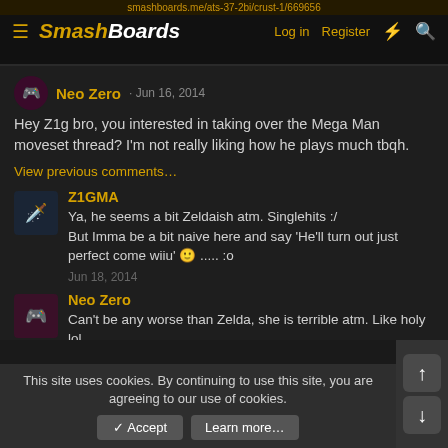SmashBoards — Log in  Register
Neo Zero · Jun 16, 2014
Hey Z1g bro, you interested in taking over the Mega Man moveset thread? I'm not really liking how he plays much tbqh.
View previous comments…
Z1GMA
Ya, he seems a bit Zeldaish atm. Singlehits :/ But Imma be a bit naive here and say 'He'll turn out just perfect come wiiu' 🙂 ..... :o
Jun 18, 2014
Neo Zero
Can't be any worse than Zelda, she is terrible atm. Like holy lol.
Jun 18, 2014
Z1GMA
This site uses cookies. By continuing to use this site, you are agreeing to our use of cookies.
✓ Accept    Learn more…